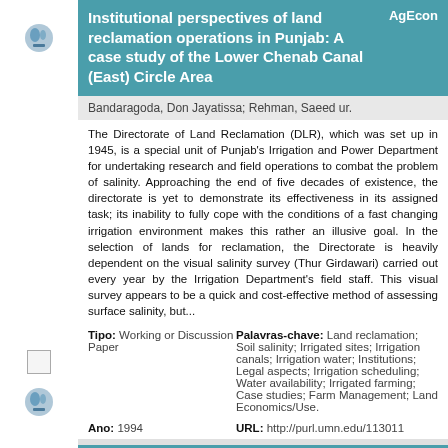Institutional perspectives of land reclamation operations in Punjab: A case study of the Lower Chenab Canal (East) Circle Area
Bandaragoda, Don Jayatissa; Rehman, Saeed ur.
The Directorate of Land Reclamation (DLR), which was set up in 1945, is a special unit of Punjab's Irrigation and Power Department for undertaking research and field operations to combat the problem of salinity. Approaching the end of five decades of existence, the directorate is yet to demonstrate its effectiveness in its assigned task; its inability to fully cope with the conditions of a fast changing irrigation environment makes this rather an illusive goal. In the selection of lands for reclamation, the Directorate is heavily dependent on the visual salinity survey (Thur Girdawari) carried out every year by the Irrigation Department's field staff. This visual survey appears to be a quick and cost-effective method of assessing surface salinity, but...
Tipo: Working or Discussion Paper
Palavras-chave: Land reclamation; Soil salinity; Irrigated sites; Irrigation canals; Irrigation water; Institutions; Legal aspects; Irrigation scheduling; Water availability; Irrigated farming; Case studies; Farm Management; Land Economics/Use.
Ano: 1994
URL: http://purl.umn.edu/113011
Institutional settings and livelihood strategies in the Blue Nile Basin: Implications for upstream/downstream linkages
Haileslassie, Amare; Hagos, Fitsum; Mapedza, Everisto; Sadoff, Claudia W.; Awulachew, Seleshi Bekele; Gebreselassie, Solomon;